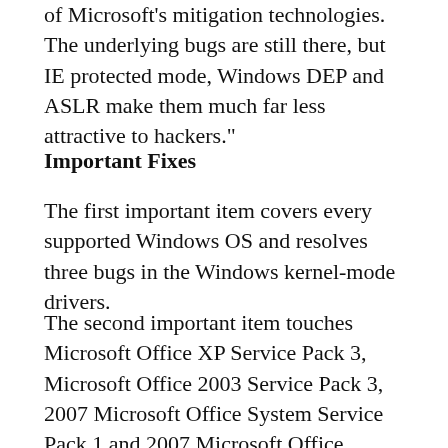of Microsoft's mitigation technologies. The underlying bugs are still there, but IE protected mode, Windows DEP and ASLR make them much far less attractive to hackers."
Important Fixes
The first important item covers every supported Windows OS and resolves three bugs in the Windows kernel-mode drivers.
The second important item touches Microsoft Office XP Service Pack 3, Microsoft Office 2003 Service Pack 3, 2007 Microsoft Office System Service Pack 1 and 2007 Microsoft Office System Service Pack 2. This bulletin deals with weaknesses in COM validations in Microsoft Office files. The patch is designed to fix a bug that could allow remote code execution if a user opens a specially crafted Excel, Word, Visio, Publisher or PowerPoint file with an affected version of